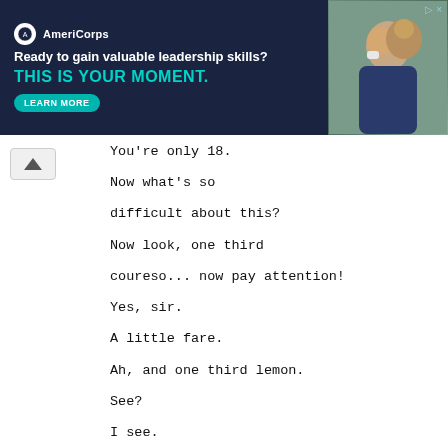[Figure (screenshot): AmeriCorps advertisement banner. Dark navy background. Logo with AmeriCorps text. Headline: 'Ready to gain valuable leadership skills?' Subheadline in teal: 'THIS IS YOUR MOMENT.' with a 'LEARN MORE' button. Photo of students on right side.]
You're only 18.

Now what's so

difficult about this?

Now look, one third

coureso... now pay attention!

Yes, sir.

A little fare.

Ah, and one third lemon.

See?

I see.

Now, a good third pecan.

See?